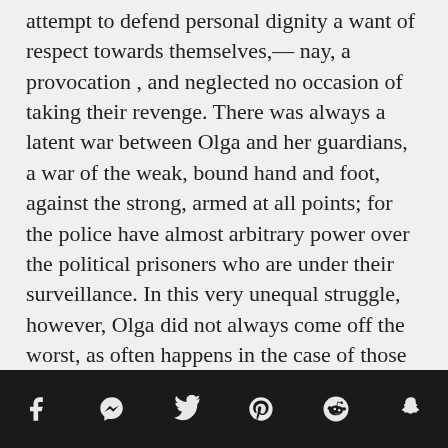attempt to defend personal dignity a want of respect towards themselves,— nay, a provocation , and neglected no occasion of taking their revenge. There was always a latent war between Olga and her guardians, a war of the weak, bound hand and foot, against the strong, armed at all points; for the police have almost arbitrary power over the political prisoners who are under their surveillance. In this very unequal struggle, however, Olga did not always come off the worst, as often happens in the case of those who, proud, daring, and fearing nothing, are always ready to risk everything for the merest trifle. One of these conflicts, which lasted four days and kept the whole of the little town in a state of excitement by its dramatic incidents, was so singular that it deserves to be related.
[Figure (other): Social media share icons: Facebook, Messenger, Twitter, Pinterest, Reddit, Snapchat]